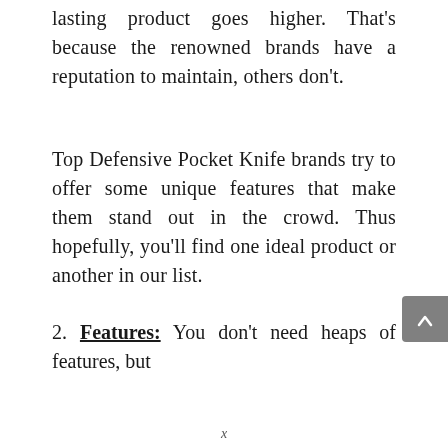lasting product goes higher. That's because the renowned brands have a reputation to maintain, others don't.
Top Defensive Pocket Knife brands try to offer some unique features that make them stand out in the crowd. Thus hopefully, you'll find one ideal product or another in our list.
2. Features: You don't need heaps of features, but